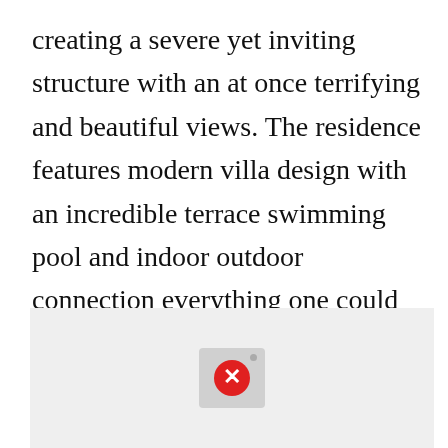creating a severe yet inviting structure with an at once terrifying and beautiful views. The residence features modern villa design with an incredible terrace swimming pool and indoor outdoor connection everything one could dream to have while living on a beach.
[Figure (other): A broken image placeholder showing a light grey rectangle with a broken image icon (red circle with white X and a small dot in the upper right corner of the icon box)]